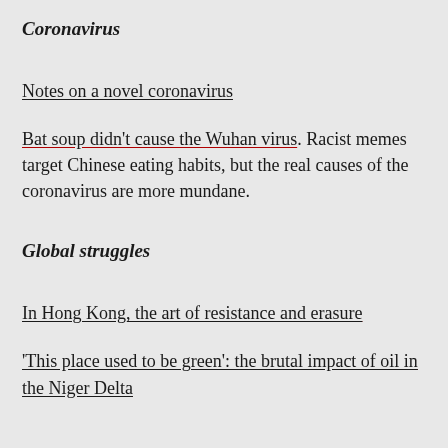Coronavirus
Notes on a novel coronavirus
Bat soup didn’t cause the Wuhan virus. Racist memes target Chinese eating habits, but the real causes of the coronavirus are more mundane.
Global struggles
In Hong Kong, the art of resistance and erasure
‘This place used to be green’: the brutal impact of oil in the Niger Delta